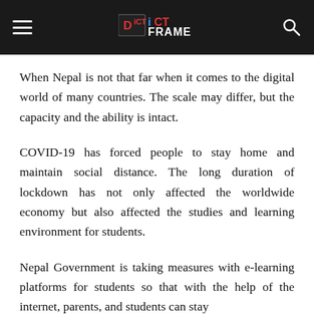ICT FRAME
When Nepal is not that far when it comes to the digital world of many countries. The scale may differ, but the capacity and the ability is intact.
COVID-19 has forced people to stay home and maintain social distance. The long duration of lockdown has not only affected the worldwide economy but also affected the studies and learning environment for students.
Nepal Government is taking measures with e-learning platforms for students so that with the help of the internet, parents, and students can stay